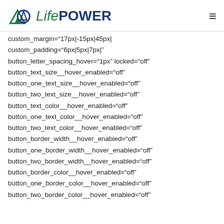LifePower logo and hamburger menu
custom_margin="17px|-15px|45px|"
custom_padding="6px|5px|7px|"
button_letter_spacing_hover="1px" locked="off"
button_text_size__hover_enabled="off"
button_one_text_size__hover_enabled="off"
button_two_text_size__hover_enabled="off"
button_text_color__hover_enabled="off"
button_one_text_color__hover_enabled="off"
button_two_text_color__hover_enabled="off"
button_border_width__hover_enabled="off"
button_one_border_width__hover_enabled="off"
button_two_border_width__hover_enabled="off"
button_border_color__hover_enabled="off"
button_one_border_color__hover_enabled="off"
button_two_border_color__hover_enabled="off"